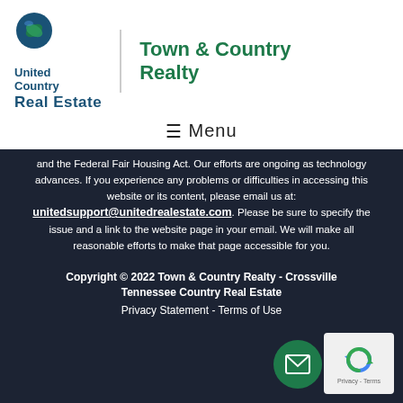[Figure (logo): United Country Real Estate logo with globe and leaf icon]
Town & Country Realty
☰ Menu
and the Federal Fair Housing Act. Our efforts are ongoing as technology advances. If you experience any problems or difficulties in accessing this website or its content, please email us at: unitedsupport@unitedrealestate.com. Please be sure to specify the issue and a link to the website page in your email. We will make all reasonable efforts to make that page accessible for you.
Copyright © 2022 Town & Country Realty - Crossville Tennessee Country Real Estate
Privacy Statement - Terms of Use
[Figure (illustration): Green circular email button with envelope icon]
[Figure (logo): reCAPTCHA badge with Privacy and Terms links]